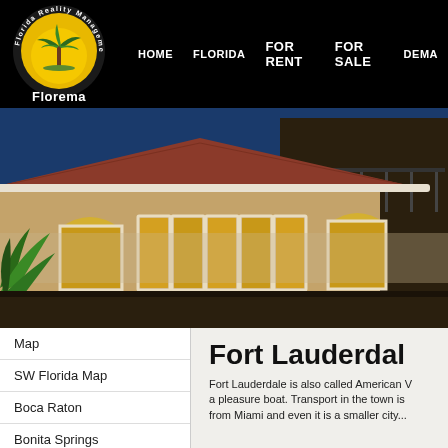[Figure (logo): Florida Reality Management - Florema logo: circular badge with palm tree on yellow/gold background with white text around the ring, and 'Florema' text below in white on black]
HOME   FLORIDA   FOR RENT   FOR SALE   DEMA…
[Figure (photo): Exterior photo of a Florida-style house/villa with Mediterranean architecture, terracotta roof tiles, beige stucco walls, large windows, wrought iron balcony railing, and tropical foliage in the foreground]
Map
SW Florida Map
Boca Raton
Bonita Springs
Bradenton
Cape Coral
Fort Lauderdale
Fort Lauderdale is also called American Venice because of its extensive canal network where you can travel by a pleasure boat. Transport in the town is easy since it is a short distance from Miami and even it is a smaller city...